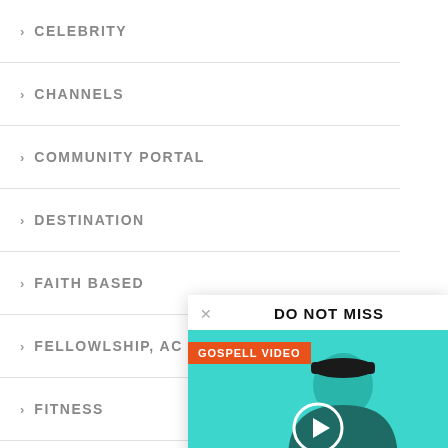> CELEBRITY
> CHANNELS
> COMMUNITY PORTAL
> DESTINATION
> FAITH BASED
> FELLOWLSHIP, AC
> FITNESS
> FOOD
> GLOBAL-NATIONA
DO NOT MISS
[Figure (photo): Man wearing a cap and jacket against a teal/cyan background, with a play button overlay. Badge reads GOSPELL VIDEO.]
CAN'T TELL TIME | ESHON BURGUNDY – Spoken Word
2017-01-06  0